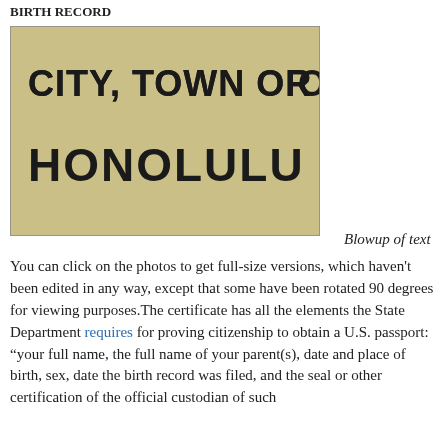BIRTH RECORD
[Figure (photo): Close-up photograph of a birth certificate showing text: 'CITY, TOWN OR LO' (partially cropped) and 'HONOLULU' on a tan/yellow background]
Blowup of text
You can click on the photos to get full-size versions, which haven't been edited in any way, except that some have been rotated 90 degrees for viewing purposes.The certificate has all the elements the State Department requires for proving citizenship to obtain a U.S. passport: “your full name, the full name of your parent(s), date and place of birth, sex, date the birth record was filed, and the seal or other certification of the official custodian of such records.” The paragraph below about birth records